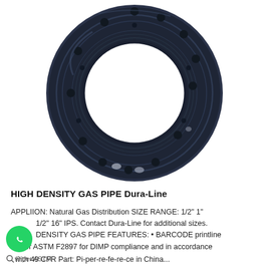[Figure (photo): A dark navy/black round pipe flange ring (high density polyethylene gas pipe fitting) viewed from above, with bolt holes around the outer edge and a large circular opening in the center. The background is white.]
HIGH DENSITY GAS PIPE Dura-Line
APPLIION: Natural Gas Distribution SIZE RANGE: 1/2" 1" 1/2" 16" IPS. Contact Dura-Line for additional sizes. DENSITY GAS PIPE FEATURES: • BARCODE printline per ASTM F2897 for DIMP compliance and in accordance with 49 CFR Part: Pi-per-re-fe-re-ce in China...